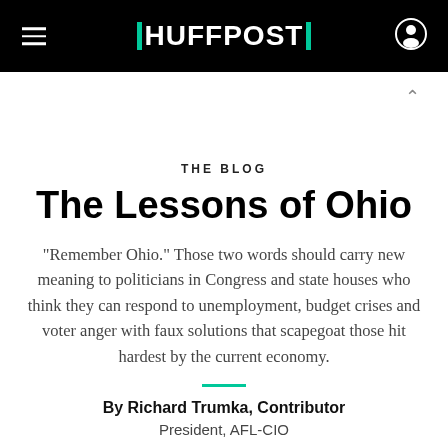HUFFPOST
THE BLOG
The Lessons of Ohio
"Remember Ohio." Those two words should carry new meaning to politicians in Congress and state houses who think they can respond to unemployment, budget crises and voter anger with faux solutions that scapegoat those hit hardest by the current economy.
By Richard Trumka, Contributor
President, AFL-CIO